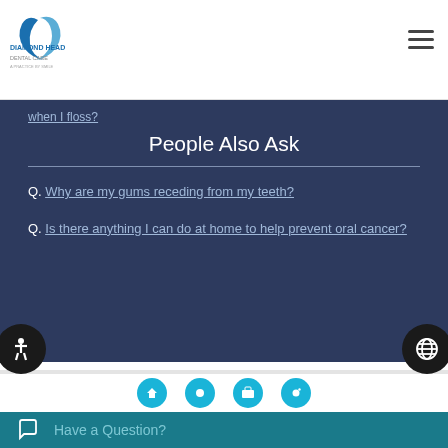[Figure (logo): Diamond Head Dental Care logo with blue crescent icon and text]
when I floss?
People Also Ask
Q. Why are my gums receding from my teeth?
Q. Is there anything I can do at home to help prevent oral cancer?
Definition of Periodontic Terminology
Have a Question?